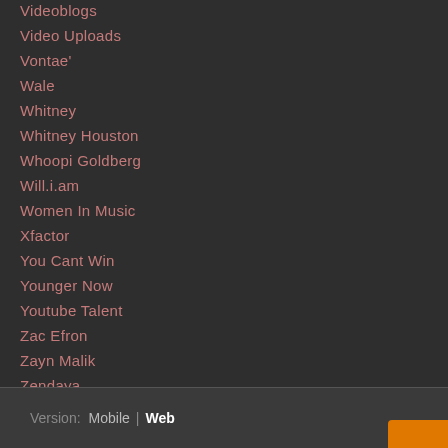Videoblogs
Video Uploads
Vontae'
Wale
Whitney
Whitney Houston
Whoopi Goldberg
Will.i.am
Women In Music
Xfactor
You Cant Win
Younger Now
Youtube Talent
Zac Efron
Zayn Malik
Zendaya
RSS Feed
Version: Mobile | Web